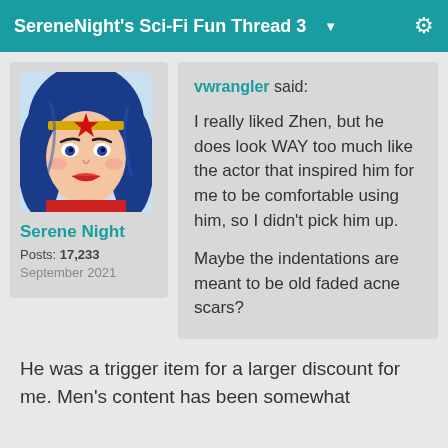SereneNight's Sci-Fi Fun Thread 3
[Figure (illustration): Avatar image of Wonder Woman comic-style illustration with blue hair, red lipstick, gold tiara with red star]
Serene Night
Posts: 17,233
September 2021
vwrangler said:

I really liked Zhen, but he does look WAY too much like the actor that inspired him for me to be comfortable using him, so I didn't pick him up.

Maybe the indentations are meant to be old faded acne scars?
He was a trigger item for a larger discount for me. Men's content has been somewhat